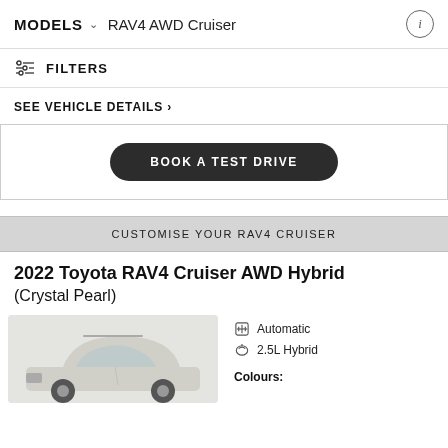MODELS  RAV4 AWD Cruiser
FILTERS
SEE VEHICLE DETAILS >
BOOK A TEST DRIVE
CUSTOMISE YOUR RAV4 CRUISER
2022 Toyota RAV4 Cruiser AWD Hybrid (Crystal Pearl)
[Figure (photo): White Toyota RAV4 SUV front 3/4 angle view]
Automatic
2.5L Hybrid
Colours: